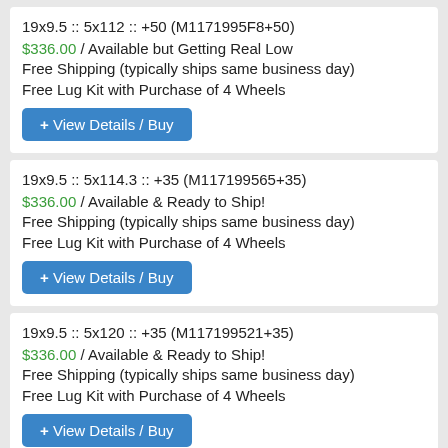19x9.5 :: 5x112 :: +50 (M1171995F8+50)
$336.00 / Available but Getting Real Low
Free Shipping (typically ships same business day)
Free Lug Kit with Purchase of 4 Wheels
19x9.5 :: 5x114.3 :: +35 (M117199565+35)
$336.00 / Available & Ready to Ship!
Free Shipping (typically ships same business day)
Free Lug Kit with Purchase of 4 Wheels
19x9.5 :: 5x120 :: +35 (M117199521+35)
$336.00 / Available & Ready to Ship!
Free Shipping (typically ships same business day)
Free Lug Kit with Purchase of 4 Wheels
20x9 :: 5x108 :: +38 (M117209031+38)
$392.00 / Available but Getting Real Low
Free Shipping (typically ships same business day)